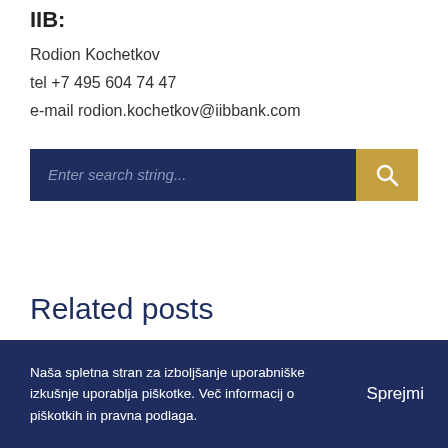IIB:
Rodion Kochetkov
tel +7 495 604 74 47
e-mail rodion.kochetkov@iibbank.com
[Figure (other): Search bar with dark navy background input field showing placeholder text 'Enter search string...' and a gold/yellow search button with magnifying glass icon]
Related posts
Naša spletna stran za izboljšanje uporabniške izkušnje uporablja piškotke. Več informacij o piškotkih in pravna podlaga.   Sprejmi